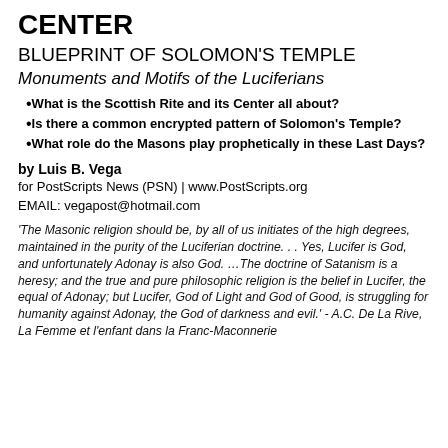CENTER
BLUEPRINT OF SOLOMON'S TEMPLE
Monuments and Motifs of the Luciferians
What is the Scottish Rite and its Center all about?
Is there a common encrypted pattern of Solomon's Temple?
What role do the Masons play prophetically in these Last Days?
by Luis B. Vega
for PostScripts News (PSN) | www.PostScripts.org
EMAIL: vegapost@hotmail.com
'The Masonic religion should be, by all of us initiates of the high degrees, maintained in the purity of the Luciferian doctrine. . . Yes, Lucifer is God, and unfortunately Adonay is also God. …The doctrine of Satanism is a heresy; and the true and pure philosophic religion is the belief in Lucifer, the equal of Adonay; but Lucifer, God of Light and God of Good, is struggling for humanity against Adonay, the God of darkness and evil.'  - A.C. De La Rive, La Femme et l'enfant dans la Franc-Maconnerie